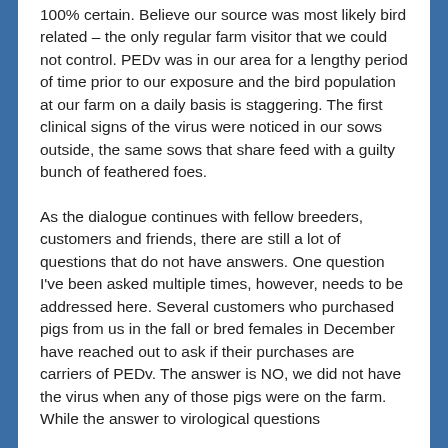100% certain. Believe our source was most likely bird related – the only regular farm visitor that we could not control. PEDv was in our area for a lengthy period of time prior to our exposure and the bird population at our farm on a daily basis is staggering. The first clinical signs of the virus were noticed in our sows outside, the same sows that share feed with a guilty bunch of feathered foes.
As the dialogue continues with fellow breeders, customers and friends, there are still a lot of questions that do not have answers. One question I've been asked multiple times, however, needs to be addressed here. Several customers who purchased pigs from us in the fall or bred females in December have reached out to ask if their purchases are carriers of PEDv. The answer is NO, we did not have the virus when any of those pigs were on the farm. While the answer to virological questions...